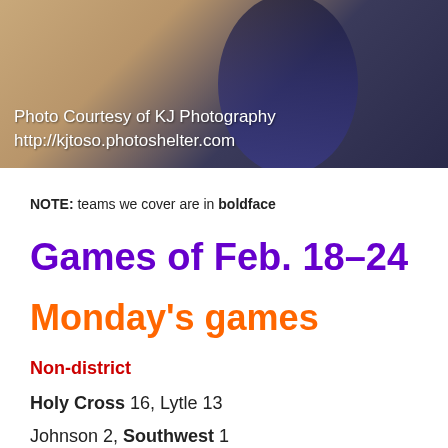[Figure (photo): Sports action photo of an athlete in blue uniform, with photo credit overlay text]
NOTE: teams we cover are in boldface
Games of Feb. 18–24
Monday's games
Non-district
Holy Cross 16, Lytle 13
Johnson 2, Southwest 1